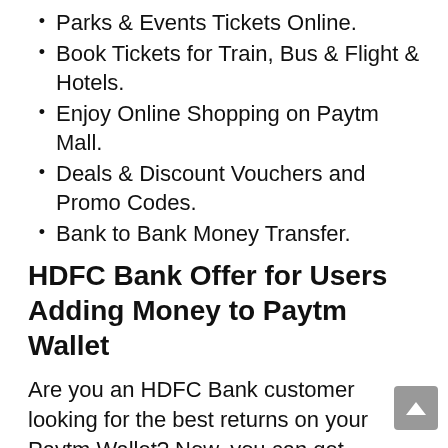Parks & Events Tickets Online.
Book Tickets for Train, Bus & Flight & Hotels.
Enjoy Online Shopping on Paytm Mall.
Deals & Discount Vouchers and Promo Codes.
Bank to Bank Money Transfer.
HDFC Bank Offer for Users Adding Money to Paytm Wallet
Are you an HDFC Bank customer looking for the best returns on your Paytm Wallet? Now, you can get whopping 5 percent cash back when you choose to add money to your Paytm Wallet with